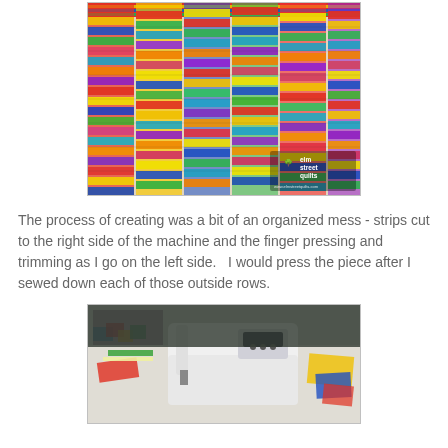[Figure (photo): A colorful quilt top made of bright multicolored fabric strips sewn together in a patchwork pattern. The strips show reds, yellows, blues, greens, and other colors. An 'elm street quilts' watermark is visible in the lower right corner.]
The process of creating was a bit of an organized mess - strips cut to the right side of the machine and the finger pressing and trimming as I go on the left side.   I would press the piece after I sewed down each of those outside rows.
[Figure (photo): A sewing machine on a worktable surrounded by colorful fabric scraps, rulers, and quilting tools in what appears to be a sewing workspace or studio.]